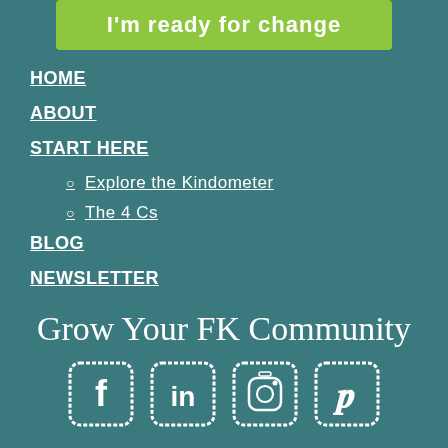I'm ready for change
HOME
ABOUT
START HERE
Explore the Kindometer
The 4 Cs
BLOG
NEWSLETTER
Grow Your FK Community
[Figure (illustration): Four social media icons: Facebook, LinkedIn, Instagram, Pinterest, each in a rounded square border with hand-drawn chalk style]